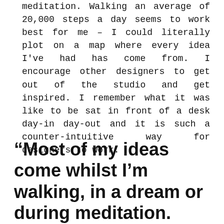meditation. Walking an average of 20,000 steps a day seems to work best for me – I could literally plot on a map where every idea I've had has come from. I encourage other designers to get out of the studio and get inspired. I remember what it was like to be sat in front of a desk day-in day-out and it is such a counter-intuitive way for designers to work.
“Most of my ideas come whilst I’m walking, in a dream or during meditation. Walking an